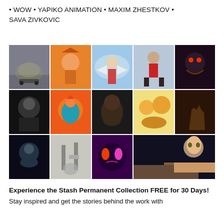• WOW • YAPIKO ANIMATION • MAXIM ZHESTKOV • SAVA ZIVKOVIC
[Figure (photo): A 3x5 grid collage of animation and film stills including: a tortoise on a skateboard in a city, an animated character, a person with wings flying through clouds, a man in a red jersey jumping, a dark fantasy creature, a man in a spacesuit, a colorful animated bird illustration on orange background, a close-up portrait of a Black woman, two cartoon characters, a dark fantasy hand, a man floating in space, a black and white photo of a person seated near industrial towers, a glowing-eyed cat on purple background, and an anime-style character biting their fist.]
Experience the Stash Permanent Collection FREE for 30 Days! Stay inspired and get the stories behind the work with